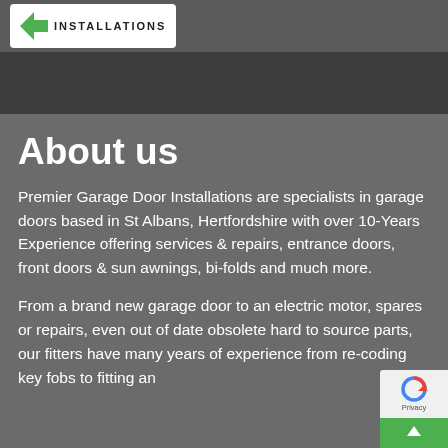[Figure (logo): Premier Garage Door Installations logo with green arrow and white background, text reading INSTALLATIONS]
About us
Premier Garage Door Installations are specialists in garage doors based in St Albans, Hertfordshire with over 10-Years Experience offering services & repairs, entrance doors, front doors & sun awnings, bi-folds and much more.
From a brand new garage door to an electric motor, spares or repairs, even out of date obsolete hard to source parts, our fitters have many years of experience from re-coding key fobs to fitting and fixing, servicing all makes of garage doors.